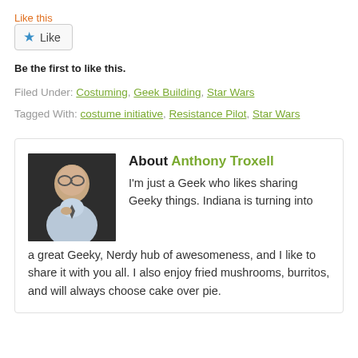Like this
Like (button)
Be the first to like this.
Filed Under: Costuming, Geek Building, Star Wars
Tagged With: costume initiative, Resistance Pilot, Star Wars
About Anthony Troxell
I'm just a Geek who likes sharing Geeky things. Indiana is turning into a great Geeky, Nerdy hub of awesomeness, and I like to share it with you all. I also enjoy fried mushrooms, burritos, and will always choose cake over pie.